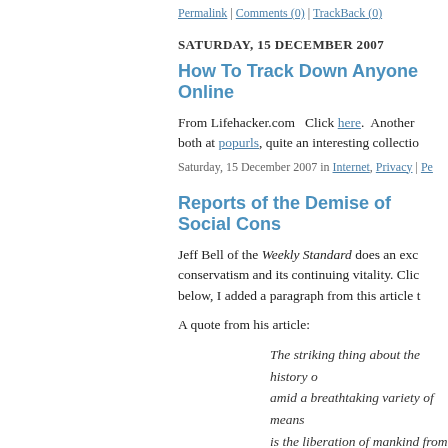Permalink | Comments (0) | TrackBack (0)
SATURDAY, 15 DECEMBER 2007
How To Track Down Anyone Online
From Lifehacker.com   Click here.  Another … both at popurls, quite an interesting collectio…
Saturday, 15 December 2007 in Internet, Privacy | Pe…
Reports of the Demise of Social Cons…
Jeff Bell of the Weekly Standard does an exc… conservatism and its continuing vitality. Clic… below, I added a paragraph from this article t…
A quote from his article:
The striking thing about the history o… amid a breathtaking variety of means… is the liberation of mankind from tra… behavior, especially moral codes. It s… of a state of nature, one of absolute i… without the need for laws.